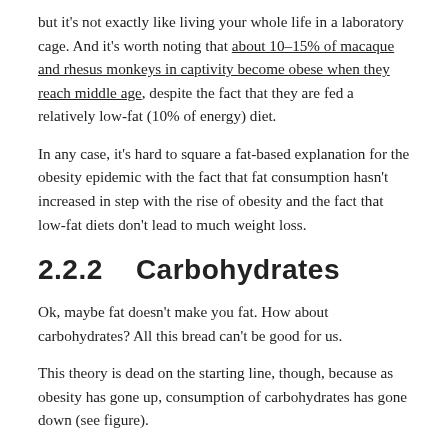but it's not exactly like living your whole life in a laboratory cage. And it's worth noting that about 10–15% of macaque and rhesus monkeys in captivity become obese when they reach middle age, despite the fact that they are fed a relatively low-fat (10% of energy) diet.
In any case, it's hard to square a fat-based explanation for the obesity epidemic with the fact that fat consumption hasn't increased in step with the rise of obesity and the fact that low-fat diets don't lead to much weight loss.
2.2.2   Carbohydrates
Ok, maybe fat doesn't make you fat. How about carbohydrates? All this bread can't be good for us.
This theory is dead on the starting line, though, because as obesity has gone up, consumption of carbohydrates has gone down (see figure).